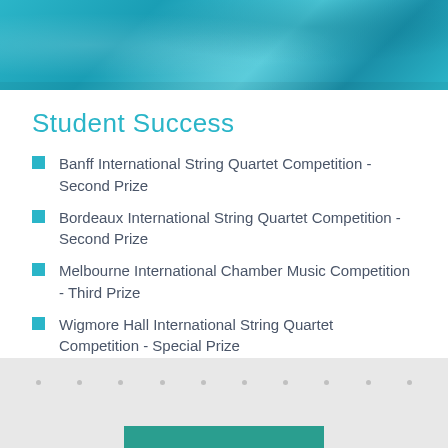[Figure (photo): Teal/blue-toned banner photo of students or musicians in the background]
Student Success
Banff International String Quartet Competition - Second Prize
Bordeaux International String Quartet Competition - Second Prize
Melbourne International Chamber Music Competition - Third Prize
Wigmore Hall International String Quartet Competition - Special Prize
Fischoff Chamber Music Competition - Grand Prize
Coltman Chamber Music Competition - Grand Prize